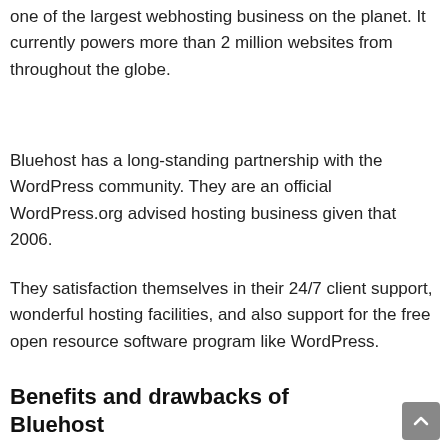one of the largest webhosting business on the planet. It currently powers more than 2 million websites from throughout the globe.
Bluehost has a long-standing partnership with the WordPress community. They are an official WordPress.org advised hosting business given that 2006.
They satisfaction themselves in their 24/7 client support, wonderful hosting facilities, and also support for the free open resource software program like WordPress.
Benefits and drawbacks of Bluehost